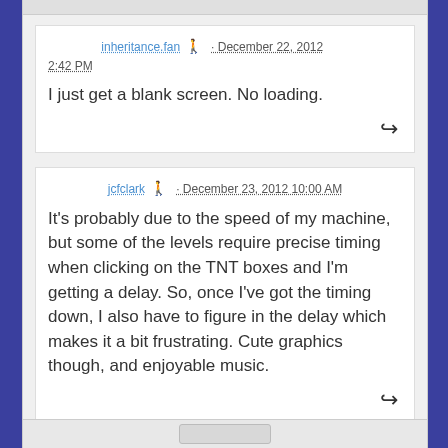inheritance.fan · December 22, 2012 2:42 PM
I just get a blank screen. No loading.
jcfclark · December 23, 2012 10:00 AM
It's probably due to the speed of my machine, but some of the levels require precise timing when clicking on the TNT boxes and I'm getting a delay. So, once I've got the timing down, I also have to figure in the delay which makes it a bit frustrating. Cute graphics though, and enjoyable music.